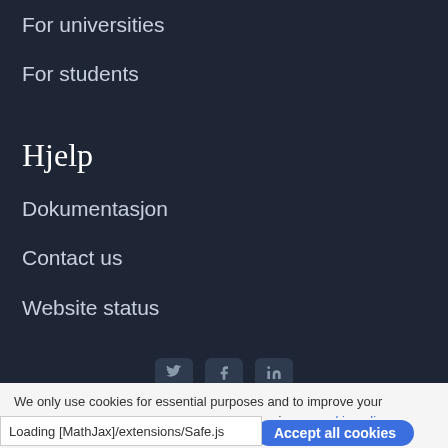For universities
For students
Hjelp
Dokumentasjon
Contact us
Website status
[Figure (other): Social media icons: Twitter, Facebook, LinkedIn]
We only use cookies for essential purposes and to improve your experience on our site. You can find out more in our cookie policy.
Essential cookies only   Accept all cookies
Loading [MathJax]/extensions/Safe.js